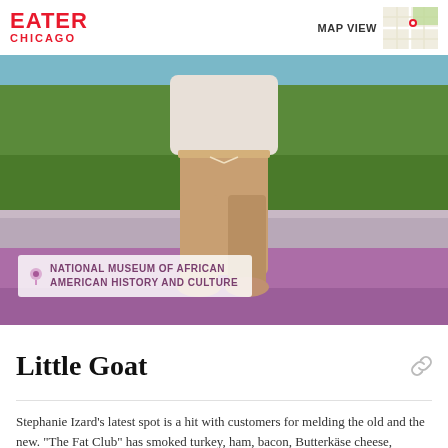EATER CHICAGO
[Figure (photo): Person standing outdoors in tan/khaki pants and white top, on a concrete ledge with green grass behind; purple/pink artistic overlay at bottom. Caption overlay reads: NATIONAL MUSEUM OF AFRICAN AMERICAN HISTORY AND CULTURE]
NATIONAL MUSEUM OF AFRICAN AMERICAN HISTORY AND CULTURE
Little Goat
Stephanie Izard's latest spot is a hit with customers for melding the old and the new. "The Fat Club" has smoked turkey, ham, bacon, Butterkäse cheese,